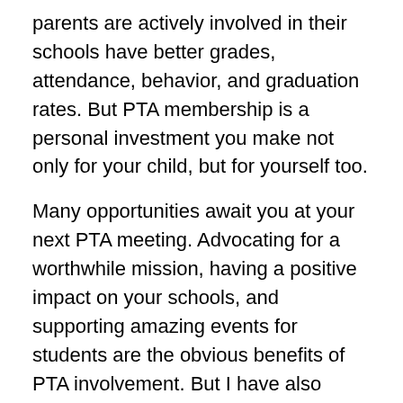parents are actively involved in their schools have better grades, attendance, behavior, and graduation rates. But PTA membership is a personal investment you make not only for your child, but for yourself too.
Many opportunities await you at your next PTA meeting. Advocating for a worthwhile mission, having a positive impact on your schools, and supporting amazing events for students are the obvious benefits of PTA involvement. But I have also witnessed more subtle perks that may come to active parents.
Here are five things that you might not know about today's PTA:
1. Volunteer and get access.
Being an active PTA member gives you legitimate reasons